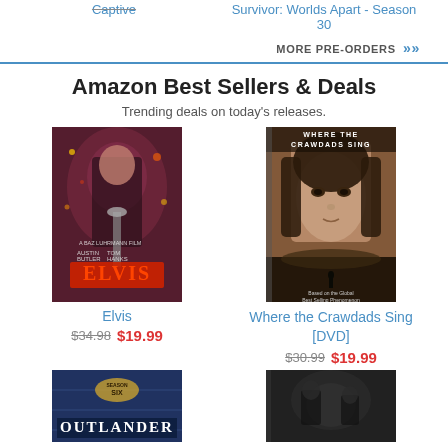Captive
Survivor: Worlds Apart - Season 30
MORE PRE-ORDERS »
Amazon Best Sellers & Deals
Trending deals on today's releases.
[Figure (photo): Elvis movie DVD cover - Baz Luhrmann film with Austin Butler]
Elvis
$34.98 $19.99
[Figure (photo): Where the Crawdads Sing DVD cover - woman's face on cover]
Where the Crawdads Sing [DVD]
$30.99 $19.99
[Figure (photo): Outlander Season Six DVD cover]
[Figure (photo): Dark movie/show DVD cover]